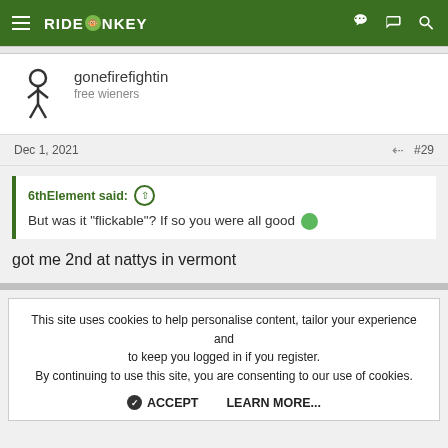RIDEMONKEY
gonefirefightin
free wieners
Dec 1, 2021  #29
6thElement said:
But was it "flickable"? If so you were all good
got me 2nd at nattys in vermont
This site uses cookies to help personalise content, tailor your experience and to keep you logged in if you register.
By continuing to use this site, you are consenting to our use of cookies.

ACCEPT   LEARN MORE...